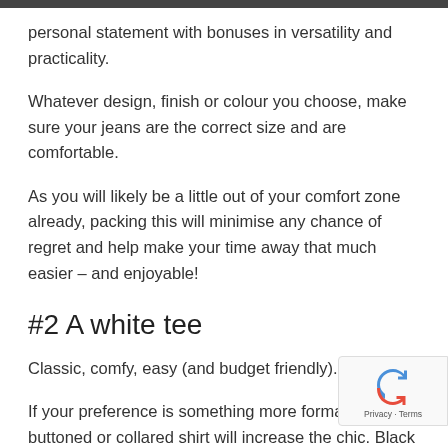personal statement with bonuses in versatility and practicality.
Whatever design, finish or colour you choose, make sure your jeans are the correct size and are comfortable.
As you will likely be a little out of your comfort zone already, packing this will minimise any chance of regret and help make your time away that much easier – and enjoyable!
#2 A white tee
Classic, comfy, easy (and budget friendly).
If your preference is something more formal, a white buttoned or collared shirt will increase the chic. Black works too.